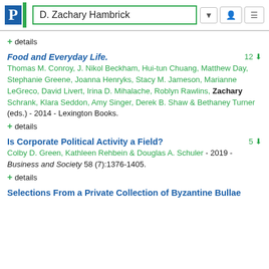D. Zachary Hambrick
+ details
Food and Everyday Life.
Thomas M. Conroy, J. Nikol Beckham, Hui-tun Chuang, Matthew Day, Stephanie Greene, Joanna Henryks, Stacy M. Jameson, Marianne LeGreco, David Livert, Irina D. Mihalache, Roblyn Rawlins, Zachary Schrank, Klara Seddon, Amy Singer, Derek B. Shaw & Bethaney Turner (eds.) - 2014 - Lexington Books.
+ details
Is Corporate Political Activity a Field?
Colby D. Green, Kathleen Rehbein & Douglas A. Schuler - 2019 - Business and Society 58 (7):1376-1405.
+ details
Selections From a Private Collection of Byzantine Bullae